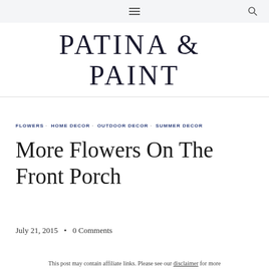Patina & Paint — navigation bar with hamburger menu and search icon
PATINA & PAINT
FLOWERS · HOME DECOR · OUTDOOR DECOR · SUMMER DECOR
More Flowers On The Front Porch
July 21, 2015  •  0 Comments
This post may contain affiliate links. Please see our disclaimer for more